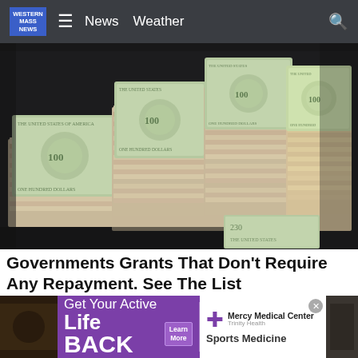WESTERN MASS NEWS | News | Weather
[Figure (photo): Stacks of US $100 bills bundled together, photographed from above on a dark background]
Governments Grants That Don't Require Any Repayment. See The List
Loans | Search Ads | Sponsored
[Figure (infographic): Advertisement banner: Get Your Active Life BACK - Mercy Medical Center Trinity Health Sports Medicine, with Learn More button]